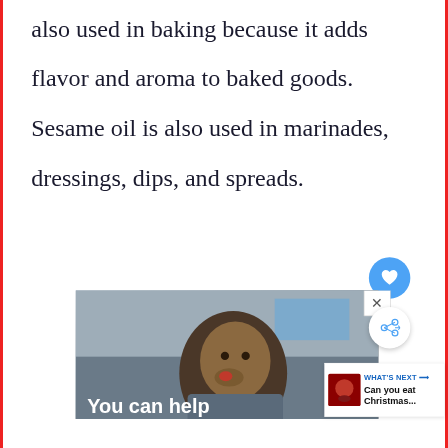also used in baking because it adds flavor and aroma to baked goods. Sesame oil is also used in marinades, dressings, dips, and spreads.
[Figure (photo): Advertisement showing a young boy eating something, with 'You can help' text overlay. Includes UI elements: heart button, share button, close (X) button, and a 'WHAT'S NEXT' card showing 'Can you eat Christmas...' with a thumbnail.]